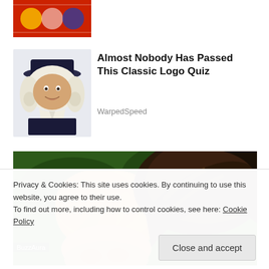[Figure (photo): Partially visible red advertisement image at top]
[Figure (illustration): Quaker Oats man illustration - man with white wig and dark hat]
Almost Nobody Has Passed This Classic Logo Quiz
WarpedSpeed
[Figure (photo): Two people photographed from behind/top showing their hair - appears to be a news photo]
BuzzAura
Privacy & Cookies: This site uses cookies. By continuing to use this website, you agree to their use.
To find out more, including how to control cookies, see here: Cookie Policy
Close and accept